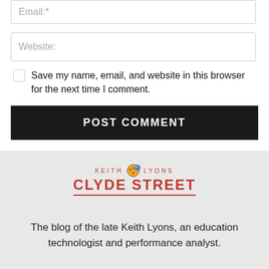Email:*
Website:
Save my name, email, and website in this browser for the next time I comment.
POST COMMENT
[Figure (logo): Keith Lyons Clyde Street blog logo with soccer ball icon and red text]
The blog of the late Keith Lyons, an education technologist and performance analyst.